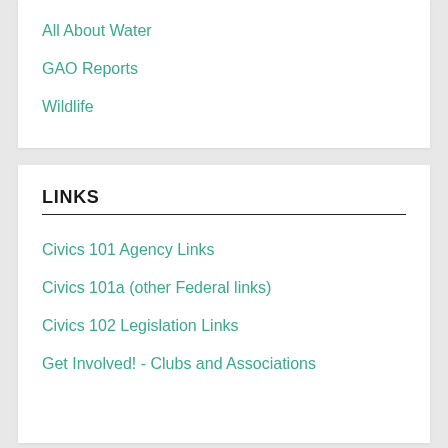All About Water
GAO Reports
Wildlife
LINKS
Civics 101 Agency Links
Civics 101a (other Federal links)
Civics 102 Legislation Links
Get Involved! - Clubs and Associations